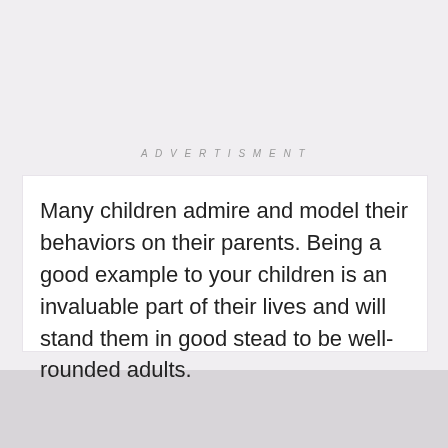ADVERTISMENT
Many children admire and model their behaviors on their parents. Being a good example to your children is an invaluable part of their lives and will stand them in good stead to be well-rounded adults.